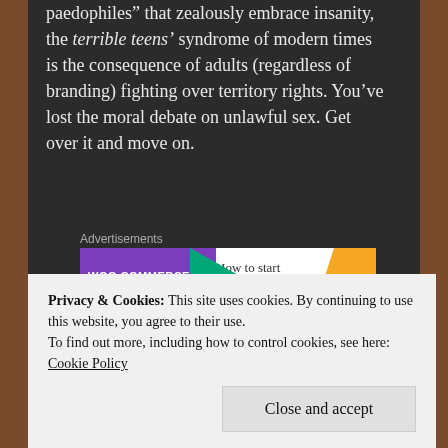paedophiles” that zealously embrace insanity, the terrible teens’ syndrome of modern times is the consequence of adults (regardless of branding) fighting over territory rights. You’ve lost the moral debate on unlawful sex. Get over it and move on.
Advertisements
[Figure (other): WooCommerce advertisement banner: 'How to start selling']
[Figure (other): Frankenweed advertisement image with product]
I ha
Privacy & Cookies: This site uses cookies. By continuing to use this website, you agree to their use.
To find out more, including how to control cookies, see here: Cookie Policy